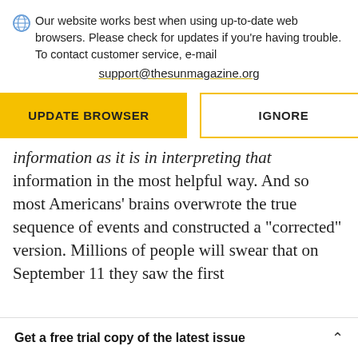Our website works best when using up-to-date web browsers. Please check for updates if you're having trouble. To contact customer service, e-mail support@thesunmagazine.org
[Figure (other): Two buttons: a yellow filled button labeled UPDATE BROWSER and a yellow-outlined button labeled IGNORE]
information as it is in interpreting that information in the most helpful way. And so most Americans' brains overwrote the true sequence of events and constructed a "corrected" version. Millions of people will swear that on September 11 they saw the first
Get a free trial copy of the latest issue